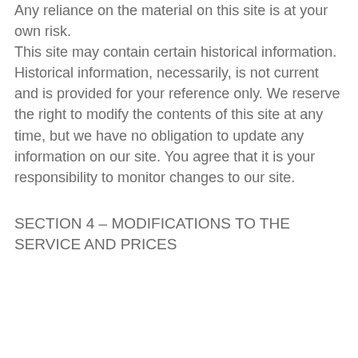Any reliance on the material on this site is at your own risk. This site may contain certain historical information. Historical information, necessarily, is not current and is provided for your reference only. We reserve the right to modify the contents of this site at any time, but we have no obligation to update any information on our site. You agree that it is your responsibility to monitor changes to our site.
SECTION 4 – MODIFICATIONS TO THE SERVICE AND PRICES